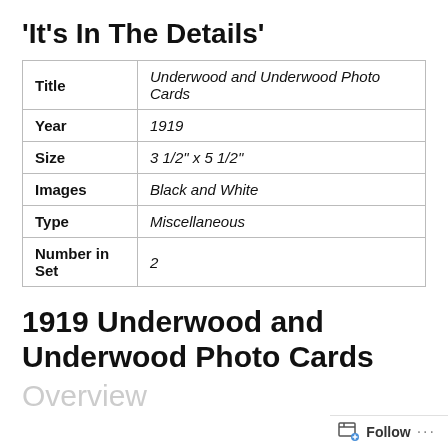'It's In The Details'
| Title | Underwood and Underwood Photo Cards |
| Year | 1919 |
| Size | 3 1/2" x 5 1/2" |
| Images | Black and White |
| Type | Miscellaneous |
| Number in Set | 2 |
1919 Underwood and Underwood Photo Cards
Overview